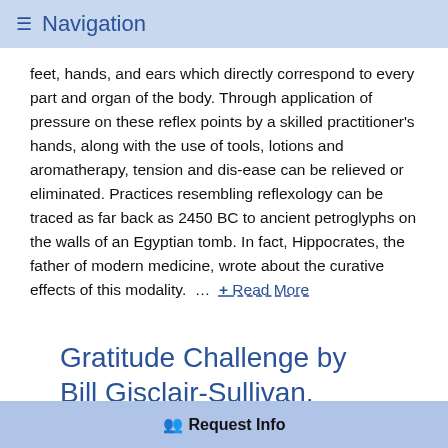≡ Navigation
feet, hands, and ears which directly correspond to every part and organ of the body. Through application of pressure on these reflex points by a skilled practitioner's hands, along with the use of tools, lotions and aromatherapy, tension and dis-ease can be relieved or eliminated. Practices resembling reflexology can be traced as far back as 2450 BC to ancient petroglyphs on the walls of an Egyptian tomb. In fact, Hippocrates, the father of modern medicine, wrote about the curative effects of this modality. … + Read More
Gratitude Challenge by Bill Gisclair-Sullivan, SWIHA Mind-Body Transformational Psychology Graduate
👥 Request Info